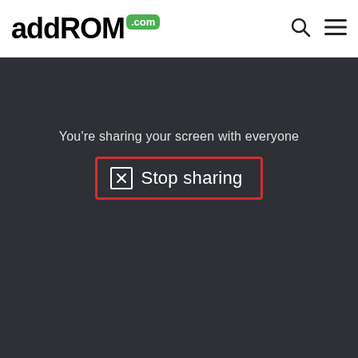[Figure (screenshot): addROM.com website header with logo (addROM in bold black, .com in green badge), search icon, and hamburger menu icon on white background]
[Figure (screenshot): Dark gray screen sharing notification showing text 'You're sharing your screen with everyone' and a 'Stop sharing' button with X icon, highlighted with a red border rectangle]